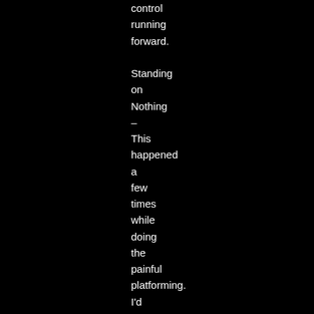control
running
forward.

Standing
on
Nothing
–
This
happened
a
few
times
while
doing
the
painful
platforming.
I'd
miss
the
ledge